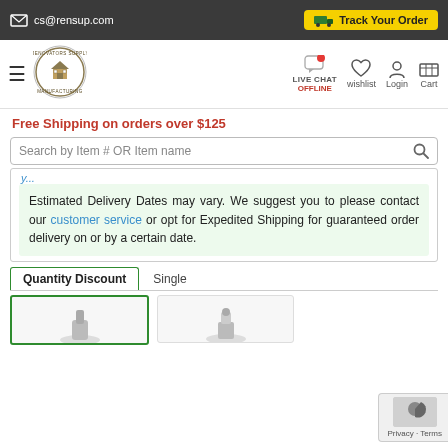cs@rensup.com | Track Your Order
[Figure (logo): Renovators Supply Manufacturing circular logo with house illustration]
Live Chat OFFLINE | wishlist | Login | Cart
Free Shipping on orders over $125
Search by Item # OR Item name
Estimated Delivery Dates may vary. We suggest you to please contact our customer service or opt for Expedited Shipping for guaranteed order delivery on or by a certain date.
Quantity Discount | Single
[Figure (photo): Two product thumbnail images at bottom of page]